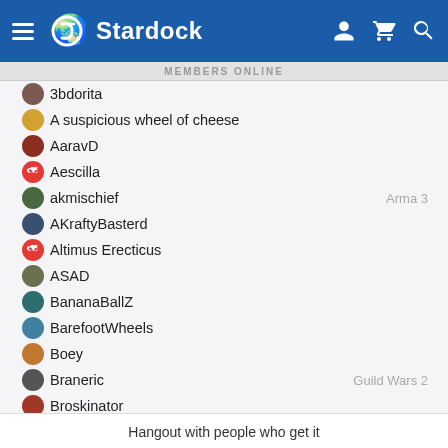Stardock
MEMBERS ONLINE
3bdorita
A suspicious wheel of cheese
AaravD
Aescilla
akmischief
AKraftyBasterd
Altimus Erecticus
ASAD
BananaBallZ
BarefootWheels
Boey
Braneric
Broskinator
Bummer6
Cas
celab99
Hangout with people who get it